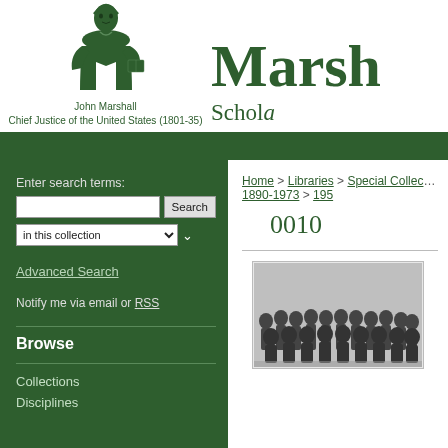[Figure (illustration): Illustration of John Marshall standing in formal attire holding a book, in dark green ink]
John Marshall
Chief Justice of the United States (1801-35)
Marsh
Schola
Enter search terms:
Advanced Search
Notify me via email or RSS
Browse
Collections
Disciplines
Home > Libraries > Special Collec... 1890-1973 > 195
0010
[Figure (photo): Black and white historical photograph showing a large group of men posed together indoors]